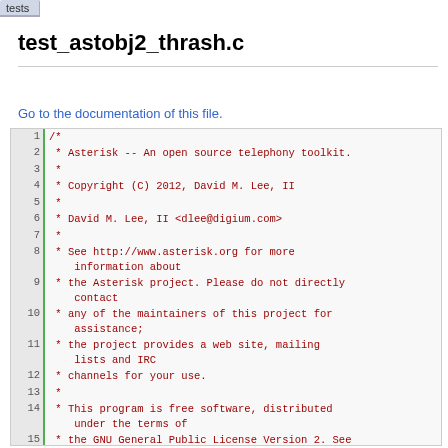tests
test_astobj2_thrash.c
Go to the documentation of this file.
1 /*
2  * Asterisk -- An open source telephony toolkit.
3  *
4  * Copyright (C) 2012, David M. Lee, II
5  *
6  * David M. Lee, II <dlee@digium.com>
7  *
8  * See http://www.asterisk.org for more information about
9  * the Asterisk project. Please do not directly contact
10  * any of the maintainers of this project for assistance;
11  * the project provides a web site, mailing lists and IRC
12  * channels for your use.
13  *
14  * This program is free software, distributed under the terms of
15  * the GNU General Public License Version 2. See the LICENSE file
16  * at the top of the source tree.
17  * /
18
19  /*
20   *! \file \brief Thrash a astobj2 container. for